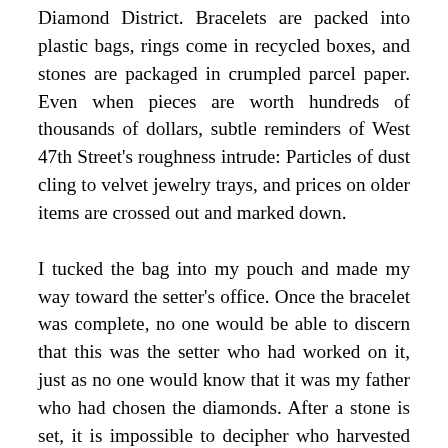Diamond District. Bracelets are packed into plastic bags, rings come in recycled boxes, and stones are packaged in crumpled parcel paper. Even when pieces are worth hundreds of thousands of dollars, subtle reminders of West 47th Street's roughness intrude: Particles of dust cling to velvet jewelry trays, and prices on older items are crossed out and marked down.
I tucked the bag into my pouch and made my way toward the setter's office. Once the bracelet was complete, no one would be able to discern that this was the setter who had worked on it, just as no one would know that it was my father who had chosen the diamonds. After a stone is set, it is impossible to decipher who harvested the gem from the river shore, who carried it from the wilderness to the market, who cut it, who polished it, and who made the match between stone and setting. It is a long and sweeping